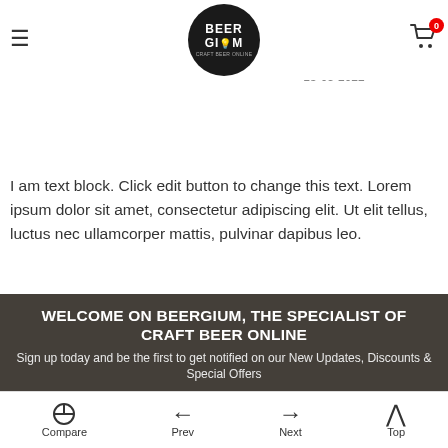Beergium navigation header with hamburger menu, logo, and cart icon (0 items)
Fauve Drôle d'Oiseau – CANS 33cl BBF 15-07-2022
Pomona Island – Directions on How to Get 'Policeman' on Your Licence Plate CANS 44cl BBF 15-03-2022
I am text block. Click edit button to change this text. Lorem ipsum dolor sit amet, consectetur adipiscing elit. Ut elit tellus, luctus nec ullamcorper mattis, pulvinar dapibus leo.
WELCOME ON BEERGIUM, THE SPECIALIST OF CRAFT BEER ONLINE
Sign up today and be the first to get notified on our New Updates, Discounts & Special Offers
Compare | Prev | Next | Top